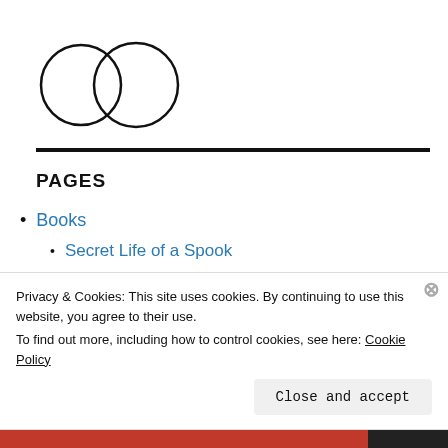[Figure (logo): Two overlapping hand-drawn circles side by side forming a logo]
PAGES
Books
Secret Life of a Spook
The Welsh Triangle
Privacy & Cookies: This site uses cookies. By continuing to use this website, you agree to their use.
To find out more, including how to control cookies, see here: Cookie Policy
Close and accept